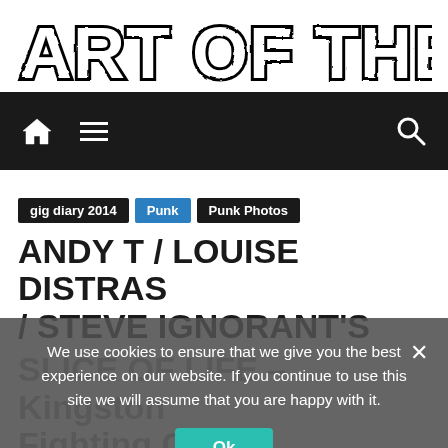[Figure (logo): Art of the State grunge/stencil style logo in black and white]
[Figure (screenshot): Dark navigation bar with home icon, hamburger menu icon, and search icon]
gig diary 2014  Punk  Punk Photos
ANDY T / LOUISE DISTRAS / STEVE IGNORANT'S SLICE OF LIFE – Kingston Fighting Cocks
We use cookies to ensure that we give you the best experience on our website. If you continue to use this site we will assume that you are happy with it.
October 29, 2014  artofthestate  0 Comments  Andy T, Fighting Cocks, gig diary, gig diary 2014, gig photos, Kingston, louise-